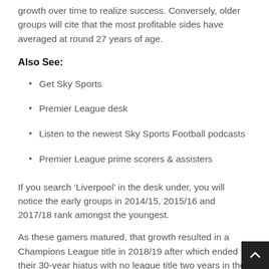growth over time to realize success. Conversely, older groups will cite that the most profitable sides have averaged at round 27 years of age.
Also See:
Get Sky Sports
Premier League desk
Listen to the newest Sky Sports Football podcasts
Premier League prime scorers & assisters
If you search ‘Liverpool’ in the desk under, you will notice the early groups in 2014/15, 2015/16 and 2017/18 rank amongst the youngest.
As these gamers matured, that growth resulted in a Champions League title in 2018/19 after which ended their 30-year hiatus with no league title two years in the past.